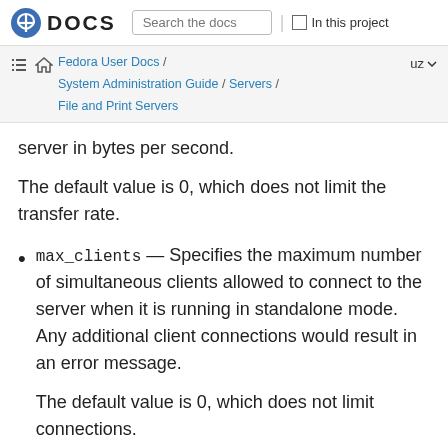DOCS  Search the docs  In this project
Fedora User Docs / System Administration Guide / Servers / File and Print Servers  uz
server in bytes per second.
The default value is 0, which does not limit the transfer rate.
max_clients — Specifies the maximum number of simultaneous clients allowed to connect to the server when it is running in standalone mode. Any additional client connections would result in an error message.
The default value is 0, which does not limit connections.